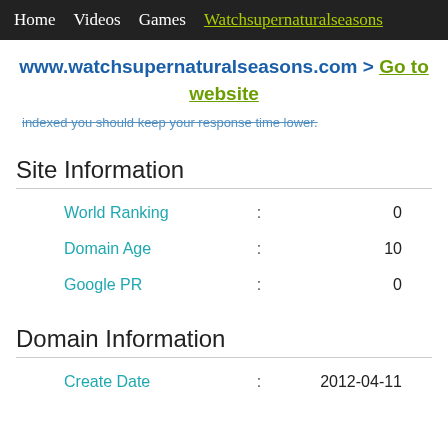Home   Videos   Games   Watchsupernaturalseasons
www.watchsupernaturalseasons.com > Go to website
indexed you should keep your response time lower.
Site Information
|  | : |  |
| --- | --- | --- |
| World Ranking | : | 0 |
| Domain Age | : | 10 |
| Google PR | : | 0 |
Domain Information
|  | : |  |
| --- | --- | --- |
| Create Date | : | 2012-04-11 |